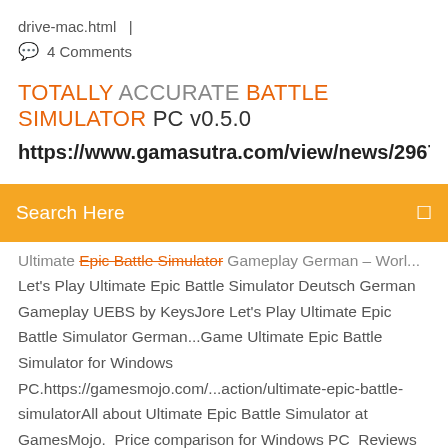drive-mac.html  |
💬 4 Comments
TOTALLY ACCURATE BATTLE SIMULATOR PC v0.5.0
https://www.gamasutra.com/view/news/296702/Developi
Search Here
Ultimate Epic Battle Simulator Gameplay German – Worl... Let's Play Ultimate Epic Battle Simulator Deutsch German Gameplay UEBS by KeysJore Let's Play Ultimate Epic Battle Simulator German...Game Ultimate Epic Battle Simulator for Windows PC.https://gamesmojo.com/...action/ultimate-epic-battle-simulatorAll about Ultimate Epic Battle Simulator at GamesMojo.  Price comparison for Windows PC  Reviews and Rating  Guides GameByte - Prison simulator | Facebook This is a game I'd love to play! PS4 News, PlayStation 4 News - Push Square Guide The Best Character Builds for Geralt in The